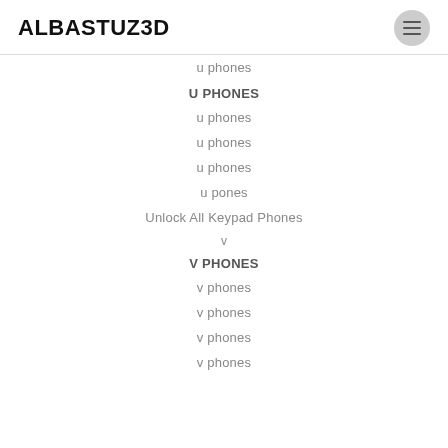ALBASTUZ3D
u phones
U PHONES
u phones
u phones
u phones
u pones
Unlock All Keypad Phones
v
V PHONES
v phones
v phones
v phones
v phones